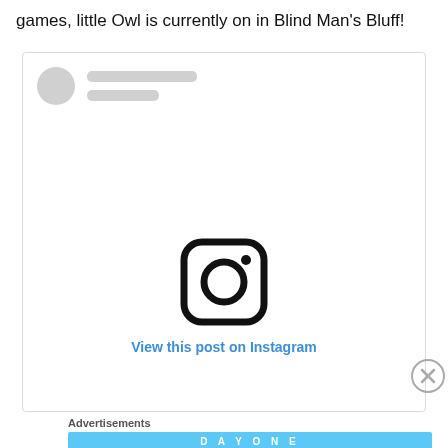games, little Owl is currently on in Blind Man's Bluff!
[Figure (screenshot): Instagram embed placeholder showing avatar skeleton, skeleton lines for username, Instagram logo in center, and a 'View this post on Instagram' link in blue]
Advertisements
[Figure (infographic): Day One journaling app advertisement banner with blue background, app icon illustrations, and text 'The only journaling app you'll ever need.']